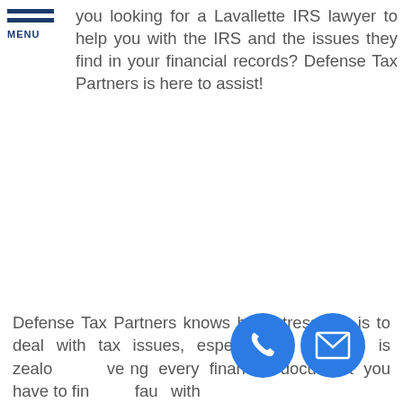MENU — Are you looking for a Lavallette IRS lawyer to help you with the IRS and the issues they find in your financial records? Defense Tax Partners is here to assist!
Defense Tax Partners knows how stressful it is to deal with tax issues, especially if the IRS is zealously reviewing every financial document you have to find any fault with